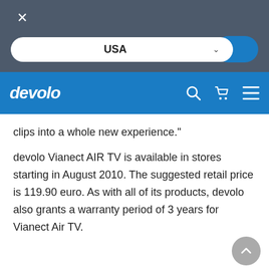[Figure (screenshot): Website header with dark gray background, close (X) button in top left, and a country selector dropdown showing 'USA' with a blue confirm button]
[Figure (logo): devolo logo in white italic text on blue navigation bar with search, cart, and menu icons]
clips into a whole new experience."
devolo Vianect AIR TV is available in stores starting in August 2010. The suggested retail price is 119.90 euro. As with all of its products, devolo also grants a warranty period of 3 years for Vianect Air TV.
‹ Voir la vue d'ensemble